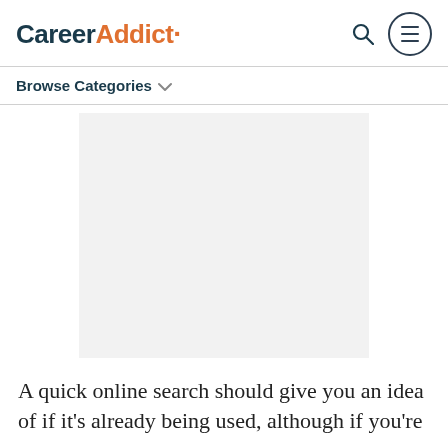CareerAddict
Browse Categories
[Figure (other): Advertisement placeholder rectangle with light grey background]
A quick online search should give you an idea of if it's already being used, although if you're